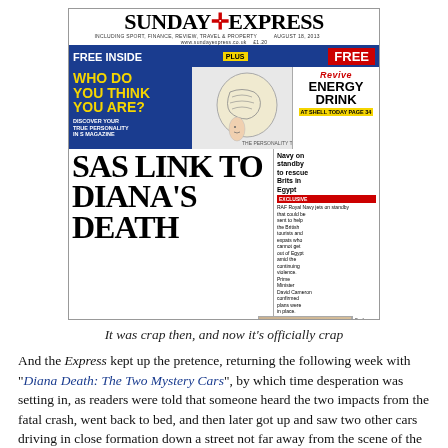[Figure (photo): Sunday Express newspaper front page showing headline 'SAS LINK TO DIANA'S DEATH', with promotional sections for 'FREE INSIDE', 'WHO DO YOU THINK YOU ARE?', 'Revive ENERGY DRINK', and a photo of Princess Diana.]
It was crap then, and now it's officially crap
And the Express kept up the pretence, returning the following week with “Diana Death: The Two Mystery Cars”, by which time desperation was setting in, as readers were told that someone heard the two impacts from the fatal crash, went back to bed, and then later got up and saw two other cars driving in close formation down a street not far away from the scene of the accident.